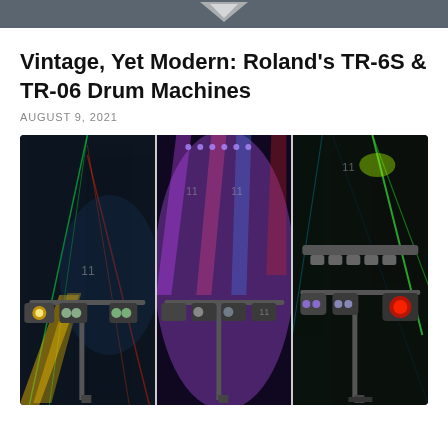[Figure (photo): Partial top image, dark background with a logo/graphic visible at top]
Vintage, Yet Modern: Roland's TR-6S & TR-06 Drum Machines
AUGUST 9, 2021
[Figure (photo): Three-panel photo of stage lighting equipment: LED par cans and effect lights on T-bar stands with colorful laser and beam effects in a dark venue. Left panel shows green/red lasers and yellow beam lights, center panel shows purple wash with colorful beams, right panel shows green laser with white/red LED fixtures.]